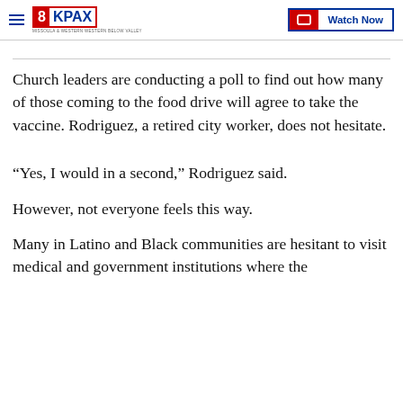8KPAX | Watch Now
Church leaders are conducting a poll to find out how many of those coming to the food drive will agree to take the vaccine. Rodriguez, a retired city worker, does not hesitate.
“Yes, I would in a second,” Rodriguez said.
However, not everyone feels this way.
Many in Latino and Black communities are hesitant to visit medical and government institutions where the